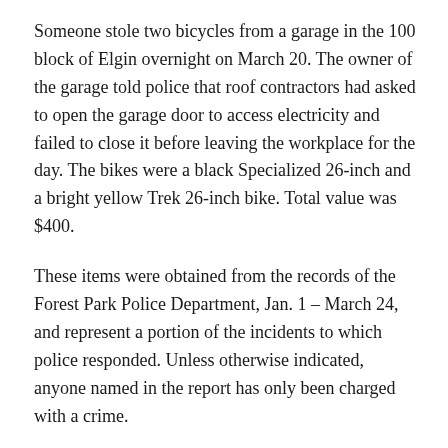Someone stole two bicycles from a garage in the 100 block of Elgin overnight on March 20. The owner of the garage told police that roof contractors had asked to open the garage door to access electricity and failed to close it before leaving the workplace for the day. The bikes were a black Specialized 26-inch and a bright yellow Trek 26-inch bike. Total value was $400.
These items were obtained from the records of the Forest Park Police Department, Jan. 1 – March 24, and represent a portion of the incidents to which police responded. Unless otherwise indicated, anyone named in the report has only been charged with a crime.
– Compiled by Jean Lotus